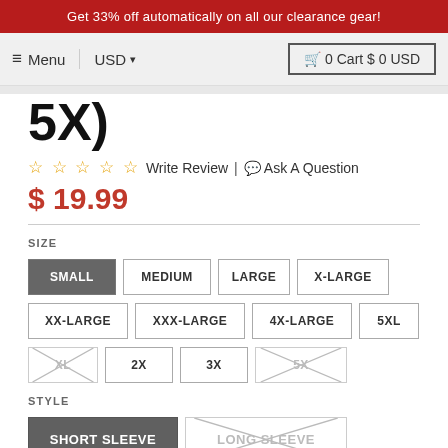Get 33% off automatically on all our clearance gear!
Menu | USD | 0 Cart $ 0 USD
5X)
☆ ☆ ☆ ☆ ☆ Write Review | Ask A Question
$ 19.99
SIZE
SMALL | MEDIUM | LARGE | X-LARGE | XX-LARGE | XXX-LARGE | 4X-LARGE | 5XL | XL (unavailable) | 2X | 3X | 5X (unavailable)
STYLE
SHORT SLEEVE | LONG SLEEVE (unavailable)
QUANTITY